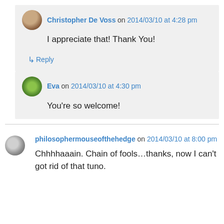Christopher De Voss on 2014/03/10 at 4:28 pm
I appreciate that! Thank You!
↳ Reply
Eva on 2014/03/10 at 4:30 pm
You're so welcome!
philosophermouseofthehedge on 2014/03/10 at 8:00 pm
Chhhhaaain. Chain of fools...thanks, now I can't got rid of that tuno.